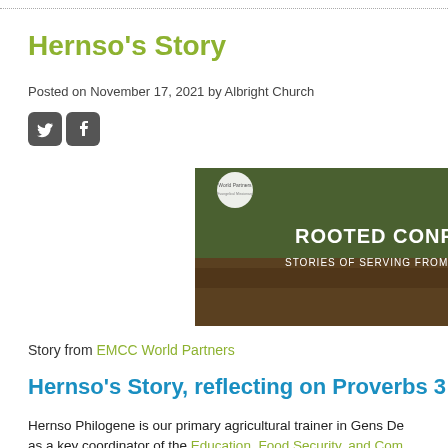Hernso's Story
Posted on November 17, 2021 by Albright Church
[Figure (photo): Image with text overlay: 'ROOTED CONFIDE... STORIES OF SERVING FROM DEPEND...' with World Partners logo, showing hands in soil/grass]
Story from EMCC World Partners
Hernso's Story, reflecting on Proverbs 3:26
Hernso Philogene is our primary agricultural trainer in Gens De... as a key coordinator of the Education, Food Security, and Com...